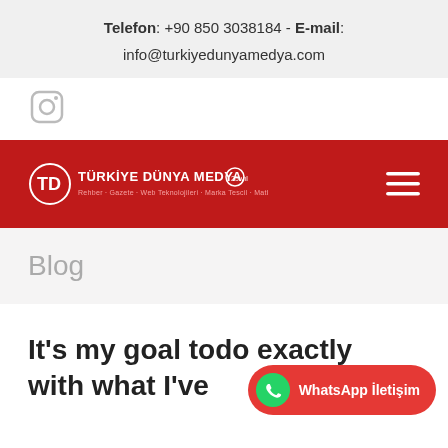Telefon: +90 850 3038184 - E-mail: info@turkiyedunyamedya.com
[Figure (logo): Instagram camera icon in grey]
[Figure (logo): Türkiye Dünya Medya logo in white on red navbar with hamburger menu]
Blog
It's my goal todo exactly with what I've
WhatsApp İletişim